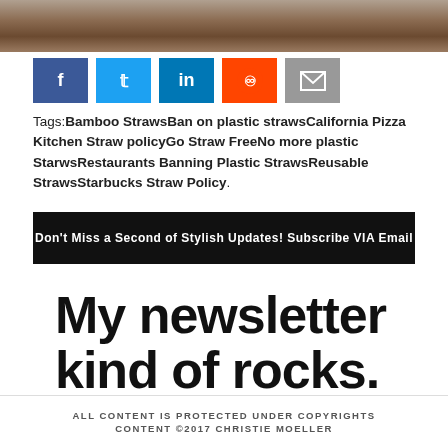[Figure (photo): Top portion of a photo showing wood or food items with brown/tan tones, partially cropped]
[Figure (infographic): Row of social media share buttons: Facebook (blue), Twitter (light blue), LinkedIn (dark blue), Reddit (orange), Email (gray)]
Tags:Bamboo StrawsBan on plastic strawsCalifornia Pizza Kitchen Straw policyGo Straw FreeNo more plastic StarwsRestaurants Banning Plastic StrawsReusable StrawsStarbucks Straw Policy.
Don't Miss a Second of Stylish Updates! Subscribe VIA Email
My newsletter kind of rocks.
ALL CONTENT IS PROTECTED UNDER COPYRIGHTS
CONTENT ©2017 CHRISTIE MOELLER